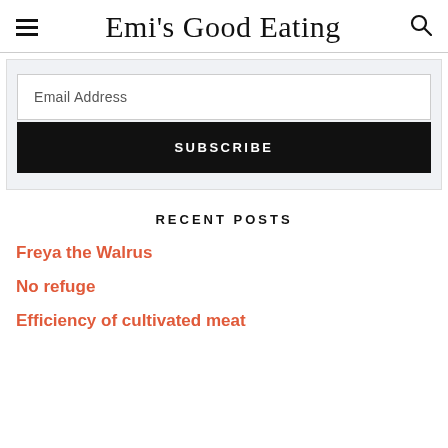Emi's Good Eating
Email Address
SUBSCRIBE
RECENT POSTS
Freya the Walrus
No refuge
Efficiency of cultivated meat